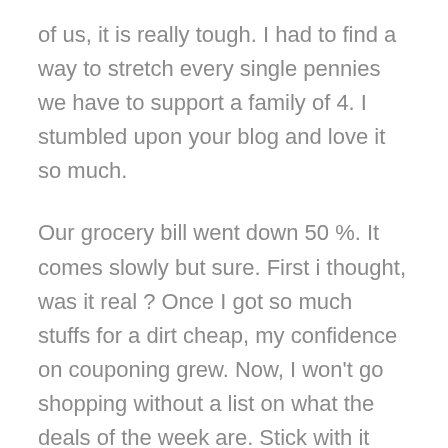of us, it is really tough. I had to find a way to stretch every single pennies we have to support a family of 4. I stumbled upon your blog and love it so much.
Our grocery bill went down 50 %. It comes slowly but sure. First i thought, was it real ? Once I got so much stuffs for a dirt cheap, my confidence on couponing grew. Now, I won't go shopping without a list on what the deals of the week are. Stick with it and I start building up my pantry. Hopefully I can catch up with you guys soon, the veteran couponers